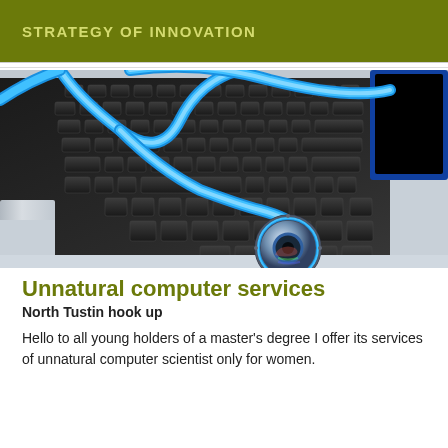STRATEGY OF INNOVATION
[Figure (photo): A blue stethoscope resting on a laptop keyboard, representing a combination of medical and computer/technology services.]
Unnatural computer services
North Tustin hook up
Hello to all young holders of a master's degree I offer its services of unnatural computer scientist only for women.